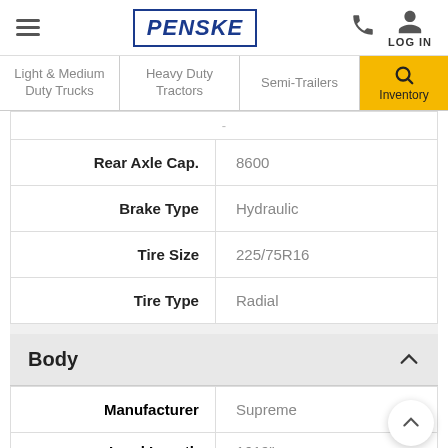Penske - navigation header with hamburger menu, Penske logo, phone icon, and LOG IN
Light & Medium Duty Trucks | Heavy Duty Tractors | Semi-Trailers | Inventory
| Label | Value |
| --- | --- |
| Rear Axle Cap. | 8600 |
| Brake Type | Hydraulic |
| Tire Size | 225/75R16 |
| Tire Type | Radial |
Body
| Label | Value |
| --- | --- |
| Manufacturer | Supreme |
| Load Length | 1619" |